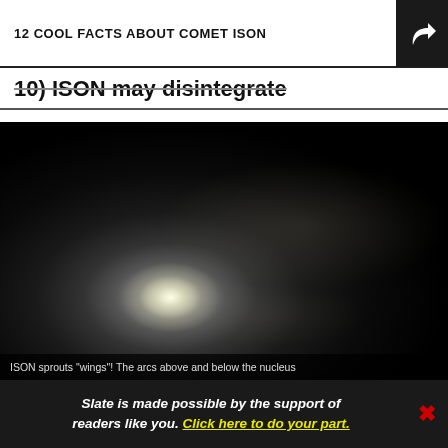12 COOL FACTS ABOUT COMET ISON
10) ISON may disintegrate
[Figure (photo): Photograph of Comet ISON showing a bright glowing nucleus with diffuse coma and tail extending outward against a dark background. The comet 'sprouts wings' with arcs above and below the nucleus.]
ISON sprouts "wings"! The arcs above and below the nucleus
Slate is made possible by the support of readers like you. Click here to do your part.